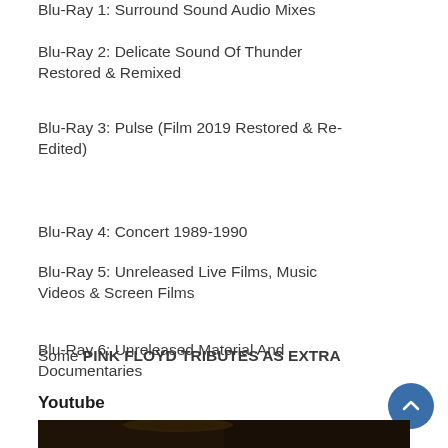Blu-Ray 1: Surround Sound Audio Mixes
Blu-Ray 2: Delicate Sound Of Thunder Restored & Remixed
Blu-Ray 3: Pulse (Film 2019 Restored & Re-Edited)
Blu-Ray 4: Concert 1989-1990
Blu-Ray 5: Unreleased Live Films, Music Videos & Screen Films
Blu-Ray 6: Unreleased Material And Documentaries
Some PINK FLOYD TRIBUTES AS EXTRA
Youtube
[Figure (photo): Partial photo at bottom of page showing a person wearing a wide-brimmed hat, cropped at top of page view]